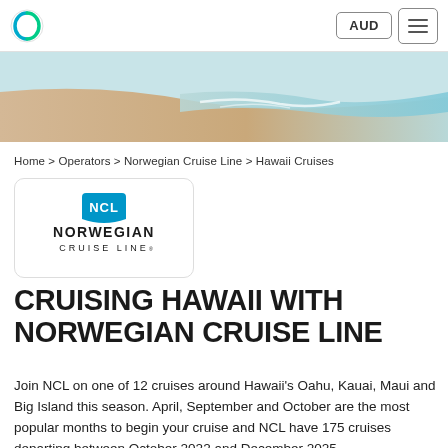AUD  ☰
[Figure (photo): Beach scene with sandy shore and ocean waves]
Home > Operators > Norwegian Cruise Line > Hawaii Cruises
[Figure (logo): Norwegian Cruise Line (NCL) logo — blue NCL badge above bold NORWEGIAN CRUISE LINE text]
CRUISING HAWAII WITH NORWEGIAN CRUISE LINE
Join NCL on one of 12 cruises around Hawaii's Oahu, Kauai, Maui and Big Island this season. April, September and October are the most popular months to begin your cruise and NCL have 175 cruises departing between October 2022 and December 2025.